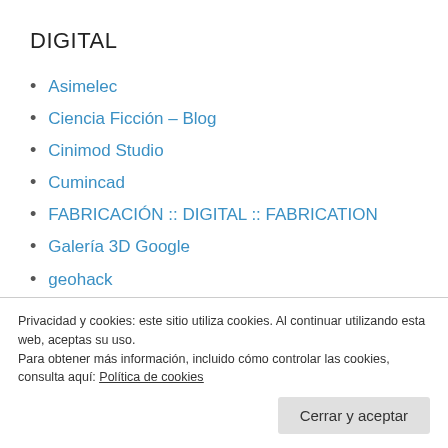DIGITAL
Asimelec
Ciencia Ficción – Blog
Cinimod Studio
Cumincad
FABRICACIÓN :: DIGITAL :: FABRICATION
Galería 3D Google
geohack
Maeda Studio
Privacidad y cookies: este sitio utiliza cookies. Al continuar utilizando esta web, aceptas su uso.
Para obtener más información, incluido cómo controlar las cookies, consulta aquí: Política de cookies
Cerrar y aceptar